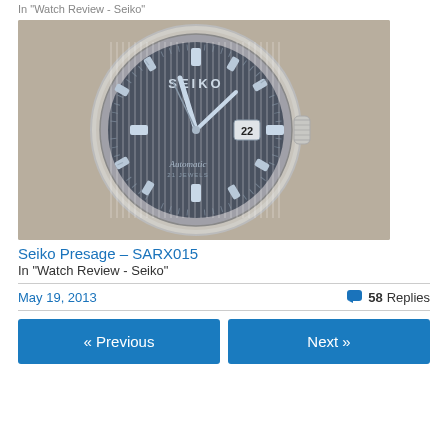In "Watch Review - Seiko"
[Figure (photo): Close-up photo of a Seiko Presage automatic watch with a dark grey striped dial, silver indices, date window showing 22, and crown visible on the right side.]
Seiko Presage – SARX015
In "Watch Review - Seiko"
May 19, 2013
58 Replies
« Previous
Next »